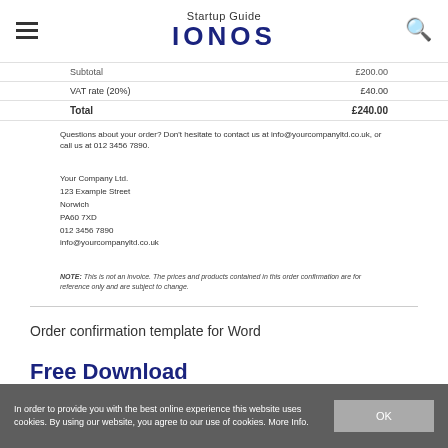Startup Guide IONOS
|  |  |
| --- | --- |
| Subtotal | £200.00 |
| VAT rate (20%) | £40.00 |
| Total | £240.00 |
Questions about your order? Don't hesitate to contact us at info@yourcompanyltd.co.uk, or call us at 012 3456 7890.
Your Company Ltd.
123 Example Street
Norwich
PA60 7XD
012 3456 7890
info@yourcompanyltd.co.uk
NOTE: This is not an invoice. The prices and products contained in this order confirmation are for reference only and are subject to change.
Order confirmation template for Word
Free Download